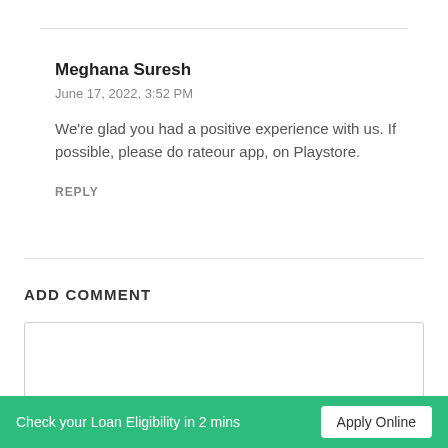Meghana Suresh
June 17, 2022, 3:52 PM
We're glad you had a positive experience with us. If possible, please do rateour app, on Playstore.
REPLY
ADD COMMENT
Check your Loan Eligibility in 2 mins
Apply Online